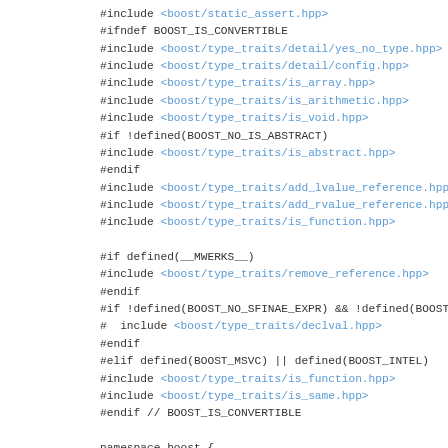[Figure (screenshot): Source code listing in C++ preprocessor directives and namespace code for boost is_convertible header, shown in monospace font with blue hyperlink-style include paths]